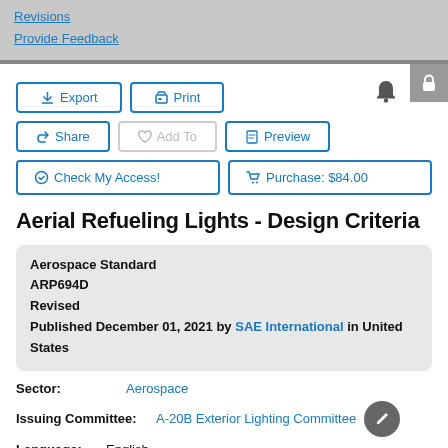Revisions
Provide Feedback
Aerial Refueling Lights - Design Criteria
Aerospace Standard
ARP694D
Revised
Published December 01, 2021 by SAE International in United States
Sector: Aerospace
Issuing Committee: A-20B Exterior Lighting Committee
Language: English